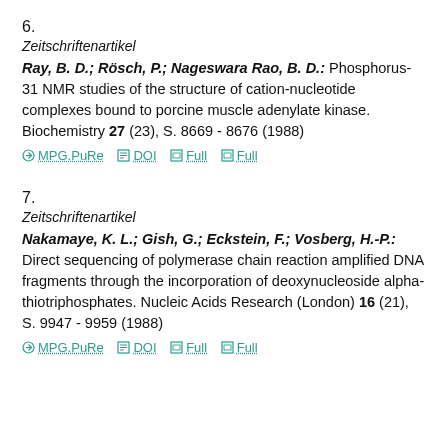6.
Zeitschriftenartikel
Ray, B. D.; Rösch, P.; Nageswara Rao, B. D.: Phosphorus-31 NMR studies of the structure of cation-nucleotide complexes bound to porcine muscle adenylate kinase. Biochemistry 27 (23), S. 8669 - 8676 (1988)
MPG.PuRe  DOI  Full  Full
7.
Zeitschriftenartikel
Nakamaye, K. L.; Gish, G.; Eckstein, F.; Vosberg, H.-P.: Direct sequencing of polymerase chain reaction amplified DNA fragments through the incorporation of deoxynucleoside alpha-thiotriphosphates. Nucleic Acids Research (London) 16 (21), S. 9947 - 9959 (1988)
MPG.PuRe  DOI  Full  Full